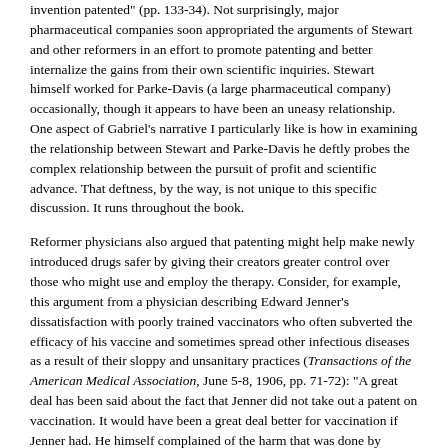invention patented" (pp. 133-34). Not surprisingly, major pharmaceutical companies soon appropriated the arguments of Stewart and other reformers in an effort to promote patenting and better internalize the gains from their own scientific inquiries. Stewart himself worked for Parke-Davis (a large pharmaceutical company) occasionally, though it appears to have been an uneasy relationship. One aspect of Gabriel's narrative I particularly like is how in examining the relationship between Stewart and Parke-Davis he deftly probes the complex relationship between the pursuit of profit and scientific advance. That deftness, by the way, is not unique to this specific discussion. It runs throughout the book.
Reformer physicians also argued that patenting might help make newly introduced drugs safer by giving their creators greater control over those who might use and employ the therapy. Consider, for example, this argument from a physician describing Edward Jenner's dissatisfaction with poorly trained vaccinators who often subverted the efficacy of his vaccine and sometimes spread other infectious diseases as a result of their sloppy and unsanitary practices (Transactions of the American Medical Association, June 5-8, 1906, pp. 71-72): "A great deal has been said about the fact that Jenner did not take out a patent on vaccination. It would have been a great deal better for vaccination if Jenner had. He himself complained of the harm that was done by careless and ignorant vaccinators. If he had been able to control the